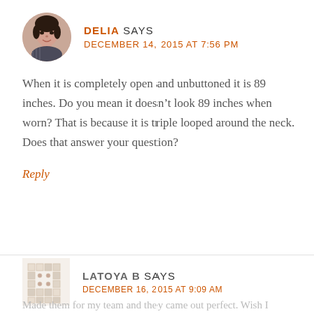[Figure (photo): Circular avatar photo of Delia, a woman with dark hair]
DELIA SAYS
DECEMBER 14, 2015 AT 7:56 PM
When it is completely open and unbuttoned it is 89 inches. Do you mean it doesn’t look 89 inches when worn? That is because it is triple looped around the neck. Does that answer your question?
Reply
[Figure (illustration): Decorative mosaic/pattern avatar placeholder for Latoya B]
LATOYA B SAYS
DECEMBER 16, 2015 AT 9:09 AM
Made them for my team and they came out perfect. Wish I